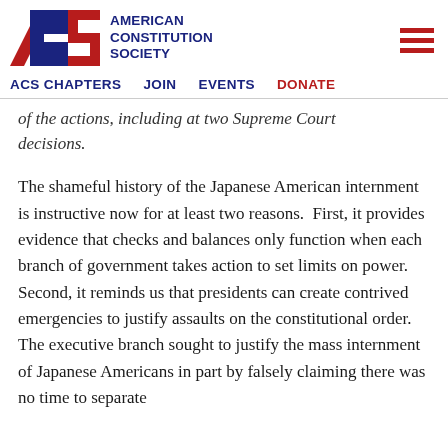AMERICAN CONSTITUTION SOCIETY
ACS CHAPTERS  JOIN  EVENTS  DONATE
of the actions, including at two Supreme Court decisions.
The shameful history of the Japanese American internment is instructive now for at least two reasons.  First, it provides evidence that checks and balances only function when each branch of government takes action to set limits on power.  Second, it reminds us that presidents can create contrived emergencies to justify assaults on the constitutional order.  The executive branch sought to justify the mass internment of Japanese Americans in part by falsely claiming there was no time to separate